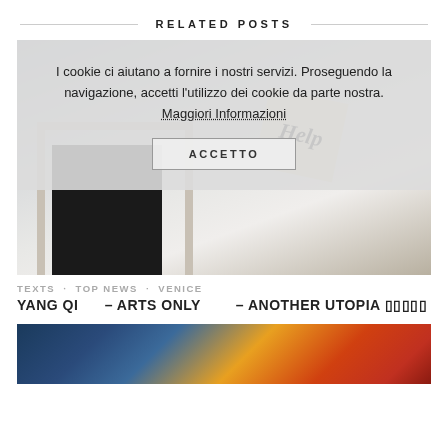RELATED POSTS
I cookie ci aiutano a fornire i nostri servizi. Proseguendo la navigazione, accetti l'utilizzo dei cookie da parte nostra. Maggiori Informazioni
ACCETTO
[Figure (photo): Photo of an art installation showing a doorway/window frame with a hanging 'Help' sign]
TEXTS · TOP NEWS · VENICE
YANG QI    – ARTS ONLY       – ANOTHER UTOPIA 唐唐唐唐唐
[Figure (photo): Partial view of a colorful artwork at the bottom of the page]